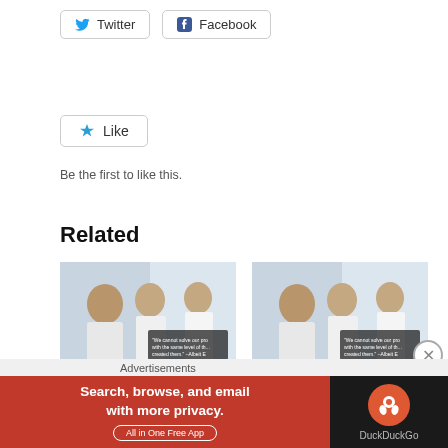[Figure (other): Twitter and Facebook share buttons]
[Figure (other): Like button with star icon]
Be the first to like this.
Related
[Figure (photo): Business people at desk - related article thumbnail for ISO 9001:2015 Clause 9.2 Internal Audit]
ISO 9001:2015 Clause 9.2 Internal Audit
[Figure (photo): Business people at desk - related article thumbnail for ISO 45001:2018 Clause 9 Performance]
ISO 45001:2018 Clause 9 Performance
Advertisements
Search, browse, and email with more privacy. All in One Free App | DuckDuckGo